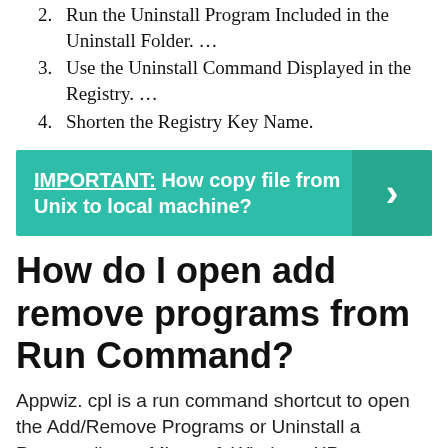2. Run the Uninstall Program Included in the Uninstall Folder. …
3. Use the Uninstall Command Displayed in the Registry. …
4. Shorten the Registry Key Name.
[Figure (infographic): Teal banner with bold white text: IMPORTANT: How copy file from Unix to local machine? with a right-pointing arrow chevron on the right side.]
How do I open add remove programs from Run Command?
Appwiz. cpl is a run command shortcut to open the Add/Remove Programs or Uninstall a Program list on Microsoft Windows XP,